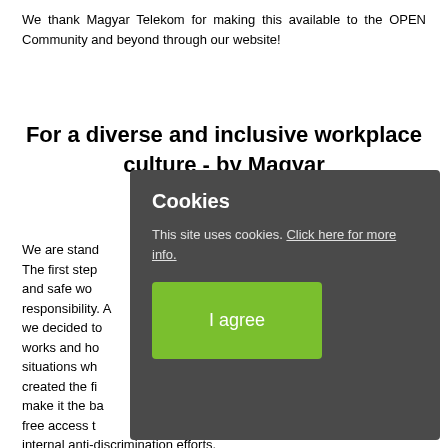We thank Magyar Telekom for making this available to the OPEN Community and beyond through our website!
For a diverse and inclusive workplace culture - by Magyar
We are stand... The first step ... and safe wo... responsibility. A... we decided to... works and ho... situations whe... created the fi... make it the ba... free access to ... internal anti-discrimination efforts.
[Figure (screenshot): Cookie consent overlay with title 'Cookies', message 'This site uses cookies. Click here for more info.' and a green 'I agree' button.]